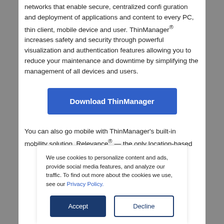networks that enable secure, centralized configuration and deployment of applications and content to every PC, thin client, mobile device and user. ThinManager® increases safety and security through powerful visualization and authentication features allowing you to reduce your maintenance and downtime by simplifying the management of all devices and users.
[Figure (other): Blue button labeled 'Download ThinManager']
You can also go mobile with ThinManager's built-in mobility solution, Relevance® — the only location-based
We use cookies to personalize content and ads, provide social media features, and analyze our traffic. To find out more about the cookies we use, see our Privacy Policy.
[Figure (other): Cookie consent buttons: Accept (dark blue filled) and Decline (outlined)]